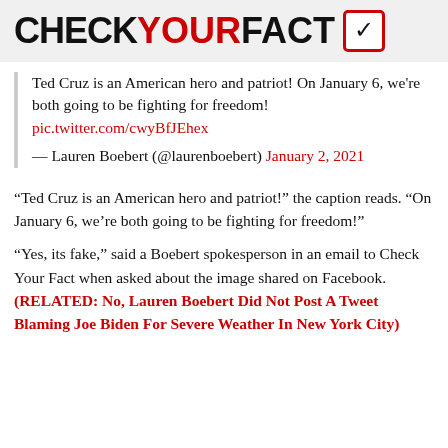CHECKYOURFACT
Ted Cruz is an American hero and patriot! On January 6, we're both going to be fighting for freedom! pic.twitter.com/cwyBfJEhex

— Lauren Boebert (@laurenboebert) January 2, 2021
“Ted Cruz is an American hero and patriot!” the caption reads. “On January 6, we’re both going to be fighting for freedom!”
“Yes, its fake,” said a Boebert spokesperson in an email to Check Your Fact when asked about the image shared on Facebook. (RELATED: No, Lauren Boebert Did Not Post A Tweet Blaming Joe Biden For Severe Weather In New York City)